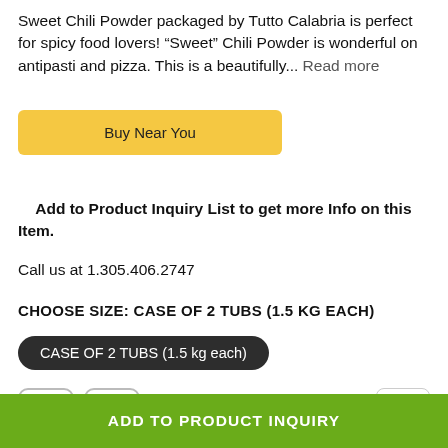Sweet Chili Powder packaged by Tutto Calabria is perfect for spicy food lovers! "Sweet" Chili Powder is wonderful on antipasti and pizza. This is a beautifully... Read more
Buy Near You
Add to Product Inquiry List to get more Info on this Item.
Call us at 1.305.406.2747
CHOOSE SIZE: CASE OF 2 TUBS (1.5 KG EACH)
CASE OF 2 TUBS (1.5 kg each)
ADD TO PRODUCT INQUIRY